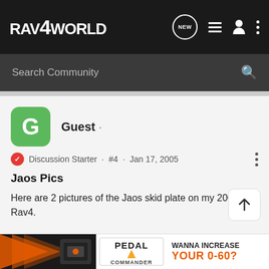RAV4WORLD
Search Community
[Figure (screenshot): User avatar: green rounded square with white letter G]
Guest ·
Discussion Starter · #4 · Jan 17, 2005
Jaos Pics
Here are 2 pictures of the Jaos skid plate on my 2001 Rav4.
[Figure (illustration): Advertisement banner: Pedal Commander product with orange arrow graphic. Text: WANNA INCREASE YOUR 0-60?]